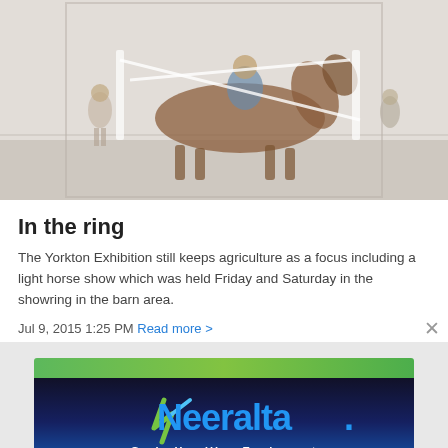[Figure (photo): A faded/washed-out photo of a person riding a brown horse in a show ring with white fence/jump obstacles, taken indoors in a barn area.]
In the ring
The Yorkton Exhibition still keeps agriculture as a focus including a light horse show which was held Friday and Saturday in the showring in the barn area.
Jul 9, 2015 1:25 PM  Read more >
[Figure (logo): Neeralta Grain Handling Equipment advertisement banner with green top bar, blue/dark background, blue Neeralta logo with green accent mark, and white tagline text 'Grain Handling Equipment'.]